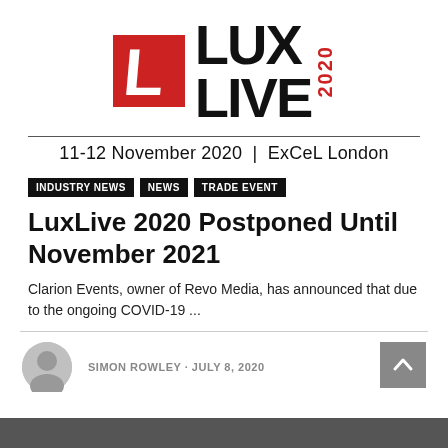[Figure (logo): LuxLive 2020 logo: red square with white L, large bold text LUX LIVE, red vertical 2020]
11-12 November 2020 | ExCeL London
INDUSTRY NEWS · NEWS · TRADE EVENT
LuxLive 2020 Postponed Until November 2021
Clarion Events, owner of Revo Media, has announced that due to the ongoing COVID-19 ...
SIMON ROWLEY · JULY 8, 2020